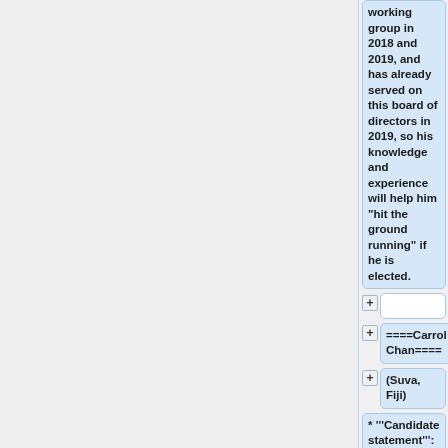working group in 2018 and 2019, and has already served on this board of directors in 2019, so his knowledge and experience will help him "hit the ground running" if he is elected.
(collapsed section)
====Carrol Chan====
(Suva, Fiji)
* '''Candidate statement''': I am a proud